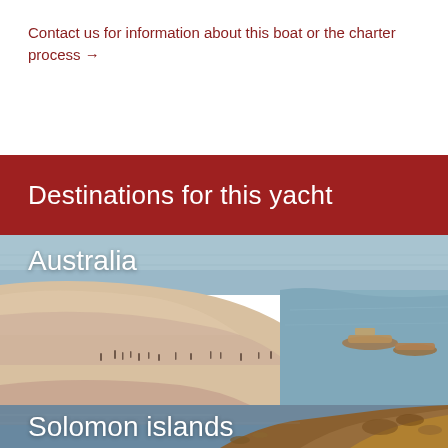Contact us for information about this boat or the charter process →
Destinations for this yacht
[Figure (photo): Aerial view of Australian coastal beach with turquoise water, sandy shore, people wading, and boats anchored offshore at sunset with pink-purple hues]
Australia
[Figure (photo): Aerial view of Solomon Islands rocky coastline with dark rocks, greenish water, and coastal terrain]
Solomon islands